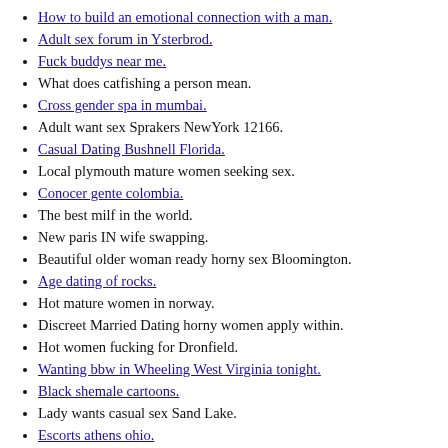How to build an emotional connection with a man.
Adult sex forum in Ysterbrod.
Fuck buddys near me.
What does catfishing a person mean.
Cross gender spa in mumbai.
Adult want sex Sprakers NewYork 12166.
Casual Dating Bushnell Florida.
Local plymouth mature women seeking sex.
Conocer gente colombia.
The best milf in the world.
New paris IN wife swapping.
Beautiful older woman ready horny sex Bloomington.
Age dating of rocks.
Hot mature women in norway.
Discreet Married Dating horny women apply within.
Hot women fucking for Dronfield.
Wanting bbw in Wheeling West Virginia tonight.
Black shemale cartoons.
Lady wants casual sex Sand Lake.
Escorts athens ohio.
What type of drug is methadone.
Beautiful women wants sex Salinas.
TANTRIC MASSAGE VANCOUVER